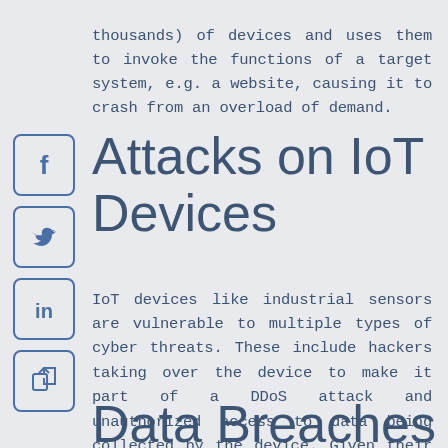thousands) of devices and uses them to invoke the functions of a target system, e.g. a website, causing it to crash from an overload of demand.
[Figure (logo): Facebook icon in a rounded square border]
[Figure (logo): Twitter bird icon in a rounded square border]
[Figure (logo): LinkedIn 'in' icon in a rounded square border]
[Figure (logo): Share/export icon in a rounded square border]
Attacks on IoT Devices
IoT devices like industrial sensors are vulnerable to multiple types of cyber threats. These include hackers taking over the device to make it part of a DDoS attack and unauthorized access to data being collected by the device. Given their numbers, geographic distribution, and frequently out-of-date operating systems, IoT devices are a prime target for malicious actors.
Data Breaches